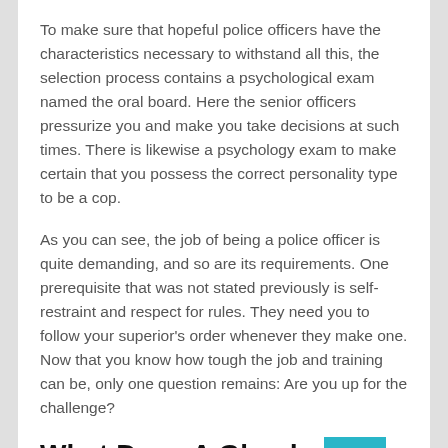To make sure that hopeful police officers have the characteristics necessary to withstand all this, the selection process contains a psychological exam named the oral board. Here the senior officers pressurize you and make you take decisions at such times. There is likewise a psychology exam to make certain that you possess the correct personality type to be a cop.
As you can see, the job of being a police officer is quite demanding, and so are its requirements. One prerequisite that was not stated previously is self-restraint and respect for rules. They need you to follow your superior's order whenever they make one. Now that you know how tough the job and training can be, only one question remains: Are you up for the challenge?
What Does A Glendora Police Officer Do?
Individuals are quick to belittle police officers. But little do they understand how much labour a law enforcement officer...